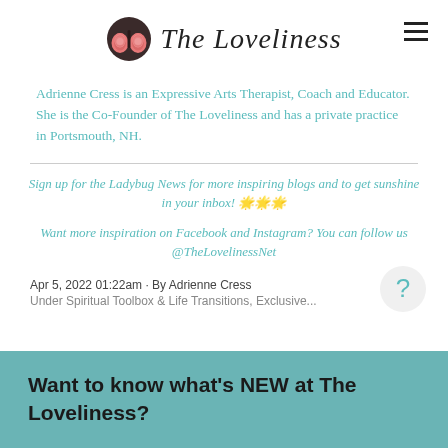The Loveliness
Adrienne Cress is an Expressive Arts Therapist, Coach and Educator. She is the Co-Founder of The Loveliness and has a private practice in Portsmouth, NH.
Sign up for the Ladybug News for more inspiring blogs and to get sunshine in your inbox! 🌟🌟🌟
Want more inspiration on Facebook and Instagram? You can follow us @TheLovelinessNet
Apr 5, 2022 01:22am · By Adrienne Cress
Want to know what's NEW at The Loveliness?